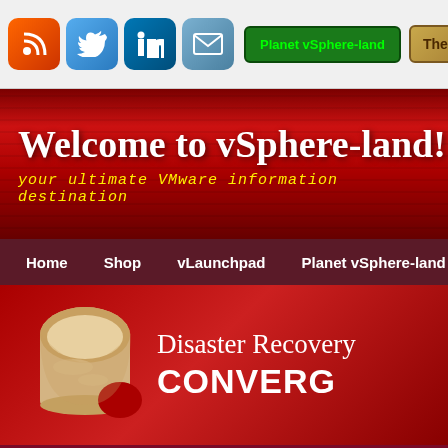Planet vSphere-land | The vLa...
Welcome to vSphere-land!
your ultimate VMware information destination
Home  Shop  vLaunchpad  Planet vSphere-land  > vLi...
[Figure (illustration): Disaster Recovery CONVERG... banner with a bread slice with bite taken out]
Monthly Archive: Nove...
Win a complete vSphere dream lab...
News